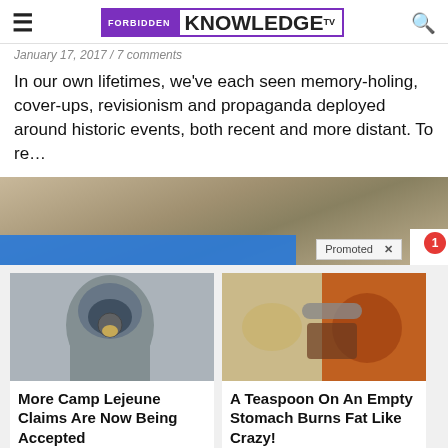Forbidden Knowledge TV
January 17, 2017 / 7 comments
In our own lifetimes, we've each seen memory-holing, cover-ups, revisionism and propaganda deployed around historic events, both recent and more distant. To re…
[Figure (photo): Stone wall background image with a blue promotional bar and a 'Promoted X' badge at bottom right, plus a red notification circle with '1']
[Figure (photo): Person in hazmat suit with gas mask]
More Camp Lejeune Claims Are Now Being Accepted
Find Out More
[Figure (photo): Fitness person and spices collage]
A Teaspoon On An Empty Stomach Burns Fat Like Crazy!
Find Out More